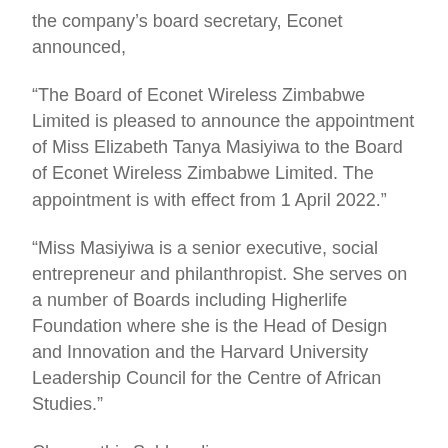the company's board secretary, Econet announced,
“The Board of Econet Wireless Zimbabwe Limited is pleased to announce the appointment of Miss Elizabeth Tanya Masiyiwa to the Board of Econet Wireless Zimbabwe Limited. The appointment is with effect from 1 April 2022.”
“Miss Masiyiwa is a senior executive, social entrepreneur and philanthropist. She serves on a number of Boards including Higherlife Foundation where she is the Head of Design and Innovation and the Harvard University Leadership Council for the Centre of African Studies.”
Change this Subheading